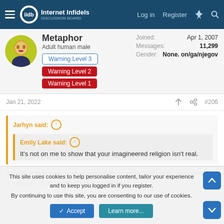Internet Infidels — Log in  Register
Metaphor
Adult human male
Warning Level 3
Warning Level 2
Warning Level 1
Joined: Apr 1, 2007
Messages: 11,299
Gender: None. on/ga/njegov
Jan 21, 2022  #206
Jarhyn said:
Emily Lake said:
It's not on me to show that your imagineered religion isn't real.
Actually it is entirely your responsibility to show that I have "imagineered" a "religion", if you wish to claim that I have.
This site uses cookies to help personalise content, tailor your experience and to keep you logged in if you register.
By continuing to use this site, you are consenting to our use of cookies.
Accept  Learn more...